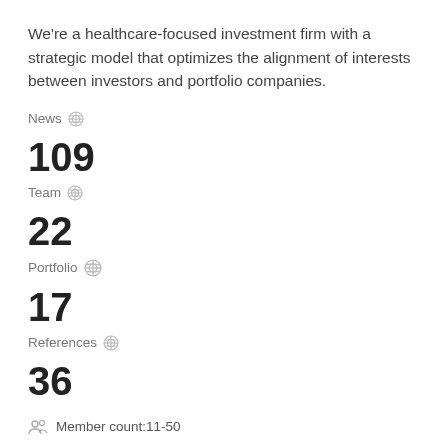We're a healthcare-focused investment firm with a strategic model that optimizes the alignment of interests between investors and portfolio companies.
News
109
Team
22
Portfolio
17
References
36
Member count:11-50